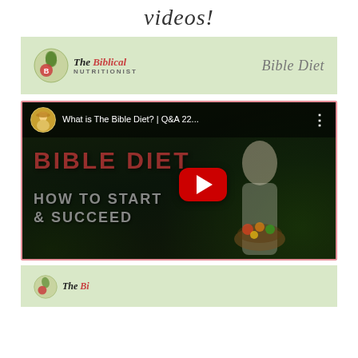videos!
[Figure (logo): The Biblical Nutritionist logo with circular emblem and text, with 'Bible Diet' in script on the right, on a light green background]
[Figure (screenshot): YouTube video thumbnail: 'What is The Bible Diet? | Q&A 22...' showing a woman holding a basket of vegetables in a garden, with text 'BIBLE DIET HOW TO START & SUCCEED' overlaid, YouTube play button in center]
[Figure (logo): Partial view of second Biblical Nutritionist card, same light green background]